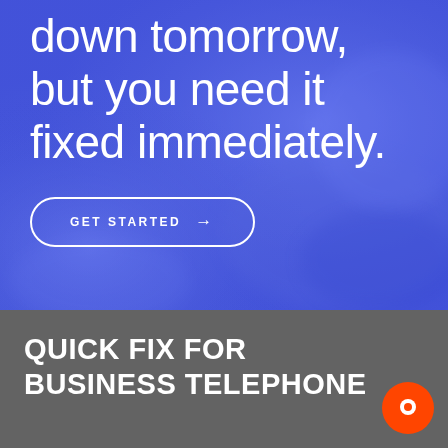[Figure (screenshot): Hero section with blue/purple gradient background showing tech imagery overlay, containing large white text and a 'GET STARTED' call-to-action button]
down tomorrow, but you need it fixed immediately.
GET STARTED →
QUICK FIX FOR BUSINESS TELEPHONE